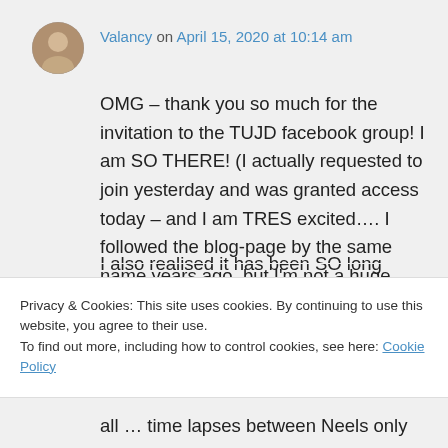[Figure (photo): Small circular avatar photo of a person]
Valancy on April 15, 2020 at 10:14 am
OMG – thank you so much for the invitation to the TUJD facebook group! I am SO THERE! (I actually requested to join yesterday and was granted access today – and I am TRES excited…. I followed the blog-page by the same name years ago, but I'm not a huge facebook person, so I didn't realise that group was a thing!
I also realised it has been SO long since I
Privacy & Cookies: This site uses cookies. By continuing to use this website, you agree to their use.
To find out more, including how to control cookies, see here: Cookie Policy
Close and accept
all … time lapses between Neels only